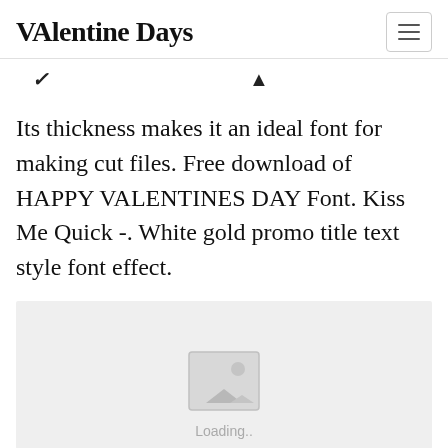VAlentine Days
Its thickness makes it an ideal font for making cut files. Free download of HAPPY VALENTINES DAY Font. Kiss Me Quick -. White gold promo title text style font effect.
[Figure (photo): Image placeholder with mountain/photo icon and 'Loading..' text on a light grey background]